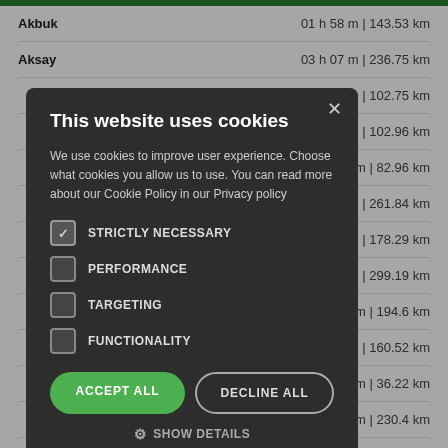Akbuk   01 h 58 m | 143.53 km
Aksay   03 h 07 m | 236.75 km
m | 102.75 km
m | 102.96 km
5 m | 82.96 km
m | 261.84 km
m | 178.29 km
m | 299.19 km
4 m | 194.6 km
m | 160.52 km
8 m | 36.22 km
7 m | 230.4 km
m | 146.53 km
m | 226.57 km
Bodrum   03 h 06 m | 222.75 km
This website uses cookies

We use cookies to improve user experience. Choose what cookies you allow us to use. You can read more about our Cookie Policy in our Privacy policy

STRICTLY NECESSARY
PERFORMANCE
TARGETING
FUNCTIONALITY

ACCEPT ALL   DECLINE ALL

SHOW DETAILS